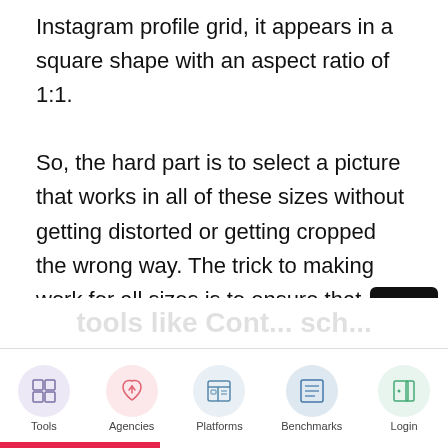Instagram profile grid, it appears in a square shape with an aspect ratio of 1:1.

So, the hard part is to select a picture that works in all of these sizes without getting distorted or getting cropped the wrong way. The trick to making work for all sizes is to ensure that whatever your picture's focus is should be right in the centre. This way, even if it is cropped from the top and bottom, it would still show your key focus object.
[Figure (other): Navigation bar with five items: Tools (grid icon, purple circle), Agencies (rocket icon, pink circle), Platforms (layout icon, light blue circle), Benchmarks (list icon, blue circle), Login (door icon, green circle)]